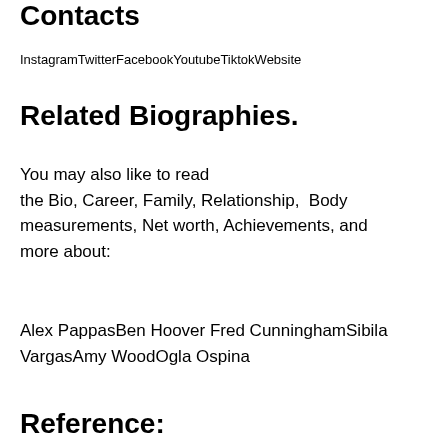Contacts
InstagramTwitterFacebookYoutubeTiktokWebsite
Related Biographies.
You may also like to read the Bio, Career, Family, Relationship, Body measurements, Net worth, Achievements, and more about:
Alex PappasBen Hoover Fred CunninghamSibila VargasAmy WoodOgla Ospina
Reference: